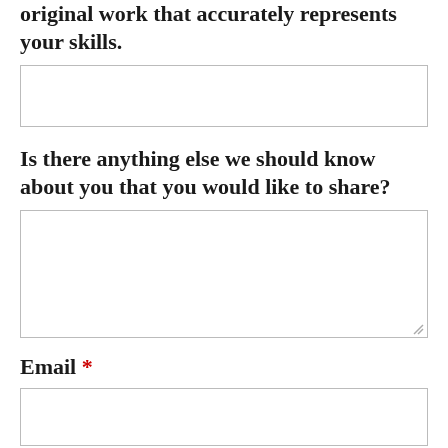original work that accurately represents your skills.
Is there anything else we should know about you that you would like to share?
Email *